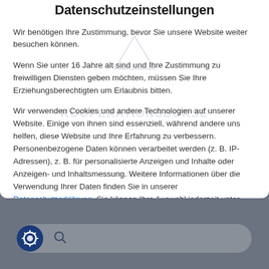Datenschutzeinstellungen
Wir benötigen Ihre Zustimmung, bevor Sie unsere Website weiter besuchen können.
Wenn Sie unter 16 Jahre alt sind und Ihre Zustimmung zu freiwilligen Diensten geben möchten, müssen Sie Ihre Erziehungsberechtigten um Erlaubnis bitten.
Wir verwenden Cookies und andere Technologien auf unserer Website. Einige von ihnen sind essenziell, während andere uns helfen, diese Website und Ihre Erfahrung zu verbessern. Personenbezogene Daten können verarbeitet werden (z. B. IP-Adressen), z. B. für personalisierte Anzeigen und Inhalte oder Anzeigen- und Inhaltsmessung. Weitere Informationen über die Verwendung Ihrer Daten finden Sie in unserer Datenschutzerklärung. Sie können Ihre Auswahl jederzeit unter Einstellungen widerrufen oder anpassen.
✓ Essenziell
[Figure (screenshot): Search bar with magnifying glass icon and a circular logo icon on the left, displayed on a grey background at the bottom of the page.]